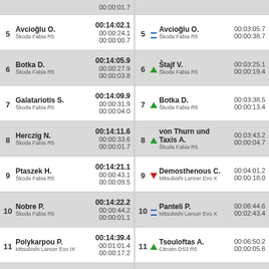| Pos | Driver/Car | Time | Pos | Driver/Car | Arrow | Time |
| --- | --- | --- | --- | --- | --- | --- |
| 5 | Avcioğlu O. / Škoda Fabia R5 | 00:14:02.1 / 00:00:24.1 / 00:00:00.7 | 5 | Avcioğlu O. / Škoda Fabia R5 | = | 00:03:05.7 / 00:00:38.7 |
| 6 | Botka D. / Škoda Fabia R5 | 00:14:05.9 / 00:00:27.9 / 00:00:03.8 | 6 | Štajf V. / Škoda Fabia R5 | ↑ | 00:03:25.1 / 00:00:19.4 |
| 7 | Galatariotis S. / Škoda Fabia R5 | 00:14:09.9 / 00:00:31.9 / 00:00:04.0 | 7 | Botka D. / Škoda Fabia R5 | ↑ | 00:03:38.5 / 00:00:13.4 |
| 8 | Herczig N. / Škoda Fabia R5 | 00:14:11.6 / 00:00:33.6 / 00:00:01.7 | 8 | von Thurn und Taxis A. / Škoda Fabia R5 | ↑ | 00:03:43.2 / 00:00:04.7 |
| 9 | Ptaszek H. / Škoda Fabia R5 | 00:14:21.1 / 00:00:43.1 / 00:00:09.5 | 9 | Demosthenous C. / Mitsubishi Lancer Evo X | ↓ | 00:04:01.2 / 00:00:18.0 |
| 10 | Nobre P. / Škoda Fabia R5 | 00:14:22.2 / 00:00:44.2 / 00:00:01.1 | 10 | Panteli P. / Mitsubishi Lancer Evo X | = | 00:06:44.6 / 00:02:43.4 |
| 11 | Polykarpou P. / Mitsubishi Lancer Evo IX | 00:14:39.4 / 00:01:01.4 / 00:00:17.2 | 11 | Tsouloftas A. / Citroën DS3 R5 | ↑ | 00:06:50.2 / 00:00:05.6 |
| 12 | Posedias M. / Mitsubishi Lancer Evo X | 00:14:41.6 / 00:01:03.6 / 00:00:02.2 | 12 | Posedias M. / Mitsubishi Lancer Evo X | ↓ | 00:07:18.4 / 00:00:28.2 |
| 13 |  | 00:14:44.6 |  |  |  |  |